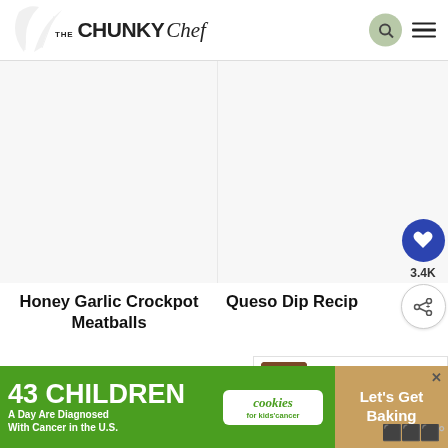THE CHUNKY Chef
[Figure (photo): Blank/white image placeholder area for Honey Garlic Crockpot Meatballs recipe]
[Figure (photo): Blank/white image placeholder area for Queso Dip Recipe]
Honey Garlic Crockpot Meatballs
Queso Dip Recipe
[Figure (infographic): Social share sidebar with heart/save button (3.4K) and share button]
[Figure (photo): What's Next thumbnail showing Easy Slow Cooker... recipe with dark food image]
WHAT'S NEXT → Easy Slow Cooker...
[Figure (infographic): Advertisement banner: 43 CHILDREN A Day Are Diagnosed With Cancer in the U.S. | cookies for kids' cancer | Let's Get Baking]